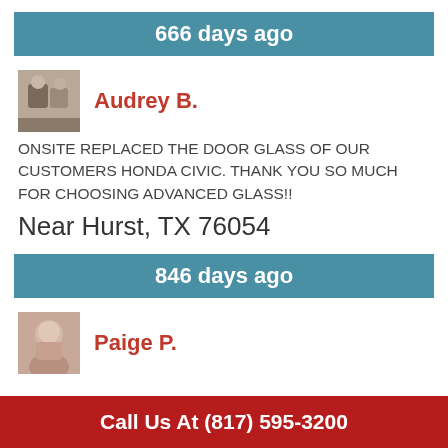666 days ago
Audrey B.
ONSITE REPLACED THE DOOR GLASS OF OUR CUSTOMERS HONDA CIVIC. THANK YOU SO MUCH FOR CHOOSING ADVANCED GLASS!!
Near Hurst, TX 76054
846 days ago
Paige P.
Call Us At (817) 595-3200